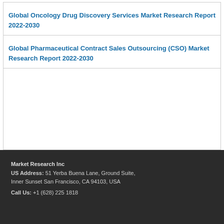Global Oncology Drug Discovery Services Market Research Report 2022-2030
Global Pharmaceutical Contract Sales Outsourcing (CSO) Market Research Report 2022-2030
Market Research Inc
US Address: 51 Yerba Buena Lane, Ground Suite, Inner Sunset San Francisco, CA 94103, USA
Call Us: +1 (628) 225 1818